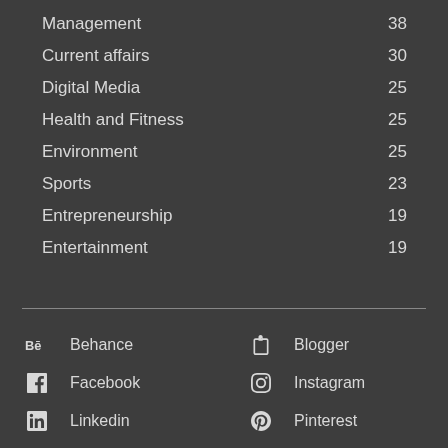Management 38
Current affairs 30
Digital Media 25
Health and Fitness 25
Environment 25
Sports 23
Entrepreneurship 19
Entertainment 19
Behance
Blogger
Facebook
Instagram
Linkedin
Pinterest
Reddit
Twitter